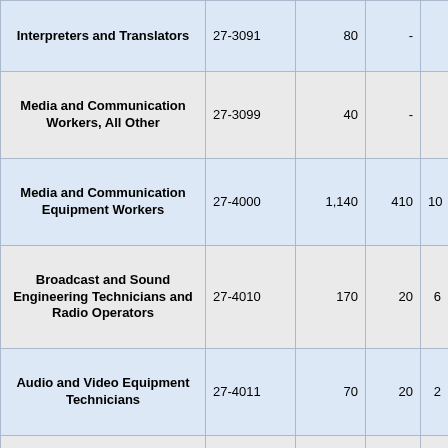| Occupation | SOC Code | Employment | Col4 | Col5 |
| --- | --- | --- | --- | --- |
| Interpreters and Translators | 27-3091 | 80 | - |  |
| Media and Communication Workers, All Other | 27-3099 | 40 | - |  |
| Media and Communication Equipment Workers | 27-4000 | 1,140 | 410 | 10 |
| Broadcast and Sound Engineering Technicians and Radio Operators | 27-4010 | 170 | 20 | 6 |
| Audio and Video Equipment Technicians | 27-4011 | 70 | 20 | 2 |
| Broadcast Technicians | 27-4012 | 90 | - | 5 |
| Photographers | 27-4020 | 840 | 380 | 3 |
| Photographers | 27-4021 | 840 | 380 | 3 |